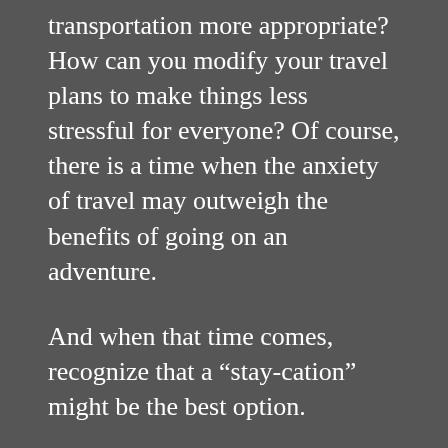transportation more appropriate? How can you modify your travel plans to make things less stressful for everyone? Of course, there is a time when the anxiety of travel may outweigh the benefits of going on an adventure.
And when that time comes, recognize that a “stay-cation” might be the best option.